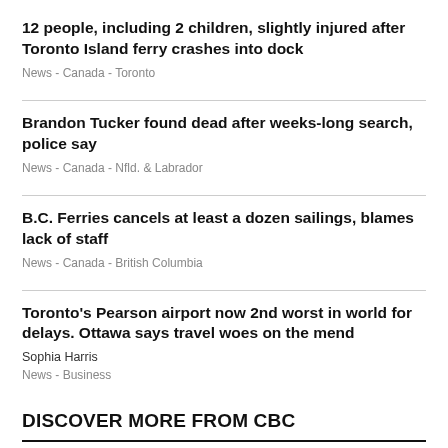12 people, including 2 children, slightly injured after Toronto Island ferry crashes into dock
News  -  Canada  -  Toronto
Brandon Tucker found dead after weeks-long search, police say
News  -  Canada  -  Nfld. & Labrador
B.C. Ferries cancels at least a dozen sailings, blames lack of staff
News  -  Canada  -  British Columbia
Toronto's Pearson airport now 2nd worst in world for delays. Ottawa says travel woes on the mend
Sophia Harris
News  -  Business
DISCOVER MORE FROM CBC
[Figure (photo): Two thumbnail images partially visible at bottom of page]